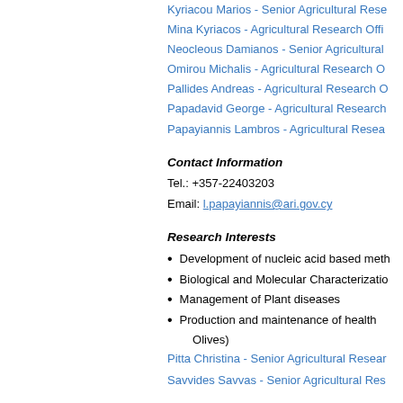Kyriacou Marios - Senior Agricultural Rese...
Mina Kyriacos - Agricultural Research Offi...
Neocleous Damianos - Senior Agricultural ...
Omirou Michalis - Agricultural Research O...
Pallides Andreas - Agricultural Research O...
Papadavid George - Agricultural Research...
Papayiannis Lambros - Agricultural Resea...
Contact Information
Tel.: +357-22403203
Email: l.papayiannis@ari.gov.cy
Research Interests
Development of nucleic acid based meth...
Biological and Molecular Characterizatio...
Management of Plant diseases
Production and maintenance of health... Olives)
Pitta Christina - Senior Agricultural Resear...
Savvides Savvas - Senior Agricultural Res...